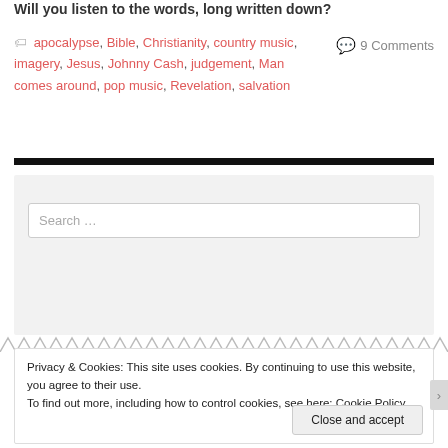Will you listen to the words, long written down?
apocalypse, Bible, Christianity, country music, imagery, Jesus, Johnny Cash, judgement, Man comes around, pop music, Revelation, salvation
9 Comments
Search …
Privacy & Cookies: This site uses cookies. By continuing to use this website, you agree to their use.
To find out more, including how to control cookies, see here: Cookie Policy
Close and accept